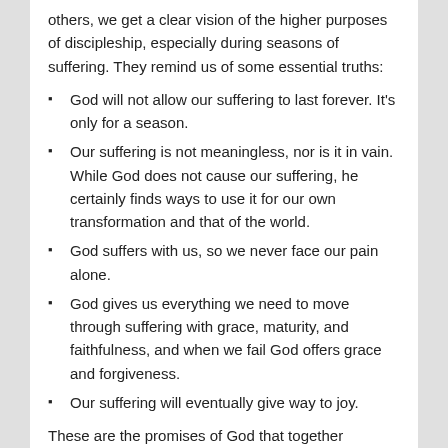others, we get a clear vision of the higher purposes of discipleship, especially during seasons of suffering. They remind us of some essential truths:
God will not allow our suffering to last forever. It's only for a season.
Our suffering is not meaningless, nor is it in vain. While God does not cause our suffering, he certainly finds ways to use it for our own transformation and that of the world.
God suffers with us, so we never face our pain alone.
God gives us everything we need to move through suffering with grace, maturity, and faithfulness, and when we fail God offers grace and forgiveness.
Our suffering will eventually give way to joy.
These are the promises of God that together generate a vision of a higher purpose that empowers us to choose the way of self-sacrificial love. Without them our suffering becomes meaningless and death-dealing. Without them